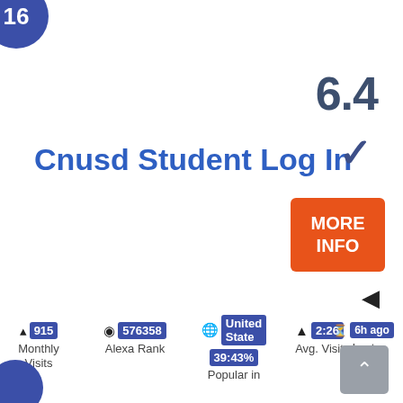[Figure (other): Blue circle badge with number 16]
6.4
Cnusd Student Log In
[Figure (other): Blue checkmark icon]
[Figure (other): Orange MORE INFO button]
[Figure (other): Left-pointing triangle arrow]
915 Monthly Visits
576358 Alexa Rank
United State 39:43% Popular in
2:26 Avg. Visit
6h ago Last Checked
[Figure (other): Gray scroll-to-top button with up arrow]
[Figure (other): Blue circle badge partial (bottom left)]